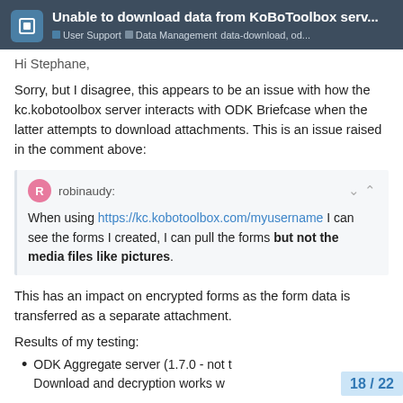Unable to download data from KoBoToolbox serv... | User Support | Data Management | data-download, od...
Hi Stephane,
Sorry, but I disagree, this appears to be an issue with how the kc.kobotoolbox server interacts with ODK Briefcase when the latter attempts to download attachments. This is an issue raised in the comment above:
robinaudy: When using https://kc.kobotoolbox.com/myusername I can see the forms I created, I can pull the forms but not the media files like pictures.
This has an impact on encrypted forms as the form data is transferred as a separate attachment.
Results of my testing:
ODK Aggregate server (1.7.0 - not t... Download and decryption works w...